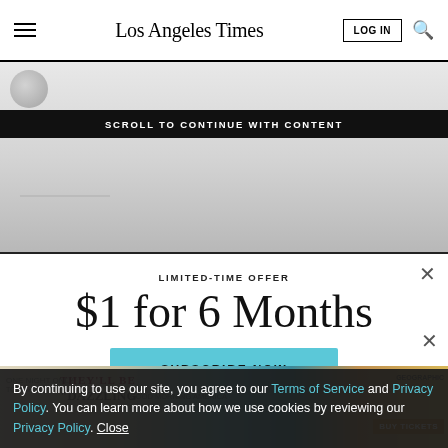Los Angeles Times
SCROLL TO CONTINUE WITH CONTENT
[Figure (screenshot): Blurred/grayed out article content area behind ad overlay]
LIMITED-TIME OFFER
$1 for 6 Months
SUBSCRIBE NOW
[Figure (advertisement): Advertisement banner at bottom of page with colorful background]
By continuing to use our site, you agree to our Terms of Service and Privacy Policy. You can learn more about how we use cookies by reviewing our Privacy Policy. Close